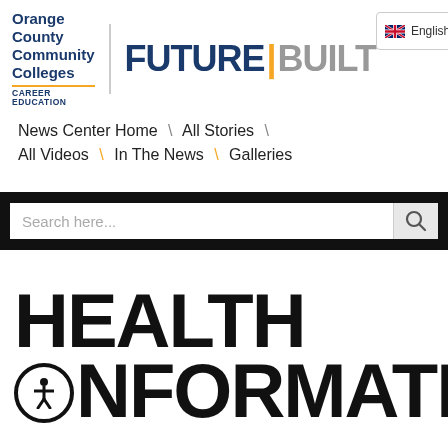[Figure (logo): Orange County Community Colleges Career Education logo with FUTURE|BUILT branding and English language selector]
News Center Home \ All Stories \ All Videos \ In The News \ Galleries
Search here...
HEALTH INFORMATION